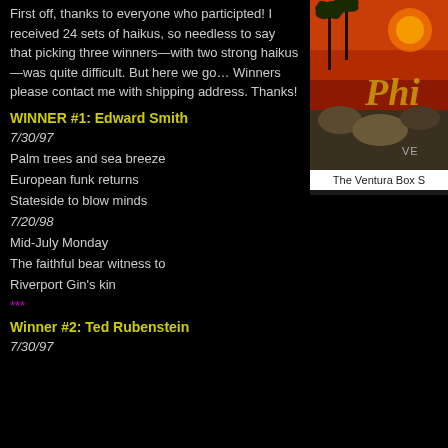First off, thanks to everyone who participted! I received 24 sets of haikus, so needless to say that picking three winners—with two strong haikus—was quite difficult. But here we go… Winners please contact me with shipping address. Thanks!
[Figure (photo): Album art with tropical scene, orange/red sky, palm trees, rocks, overlaid with stylized text 'Phi...' in gold. Caption reads 'The Ventura Box S']
The Ventura Box S
WINNER #1: Edward Smith
7/30/97
Palm trees and sea breeze
European funk returns
Stateside to blow minds
7/20/98
Mid-July Monday
The faithful bear witness to
Riverport Gin's kin
***
Winner #2: Ted Rubenstein
7/30/97